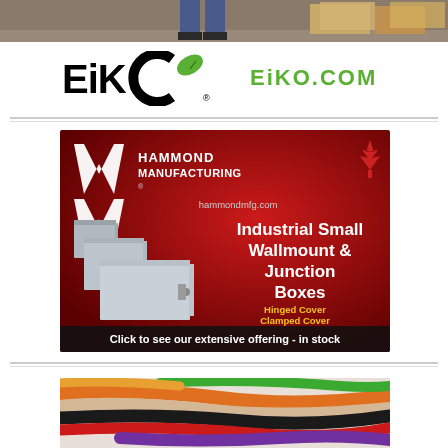[Figure (photo): Top strip photo showing person's feet/legs walking in a warehouse with boxes]
[Figure (logo): EiKO brand logo with green leaf and text EiKO.COM]
[Figure (infographic): Hammond Manufacturing advertisement for Industrial Small Wallmount & Junction Boxes. Shows red background with HM logo, maple leaf, hammondmfg.com URL, product images of grey metal junction boxes, text: Industrial Small Wallmount & Junction Boxes, Hinged Cover, Clamped Cover, Screw Cover, Click to see our extensive offering - in stock]
[Figure (photo): Bottom strip photo showing colorful electrical wires/cables bundled together in various colors including orange, green, purple, black, red, beige]